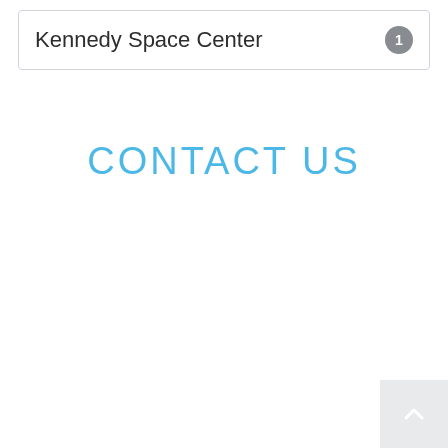Kennedy Space Center 1
CONTACT US